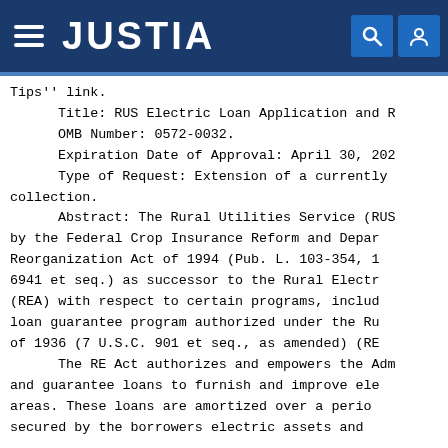JUSTIA
Tips'' link.
    Title: RUS Electric Loan Application and R
    OMB Number: 0572-0032.
    Expiration Date of Approval: April 30, 202
    Type of Request: Extension of a currently
collection.
    Abstract: The Rural Utilities Service (RUS by the Federal Crop Insurance Reform and Depar Reorganization Act of 1994 (Pub. L. 103-354, 1 6941 et seq.) as successor to the Rural Electr (REA) with respect to certain programs, includ loan guarantee program authorized under the Ru of 1936 (7 U.S.C. 901 et seq., as amended) (RE
    The RE Act authorizes and empowers the Adm and guarantee loans to furnish and improve ele areas. These loans are amortized over a perio
secured by the borrowers electric assets and